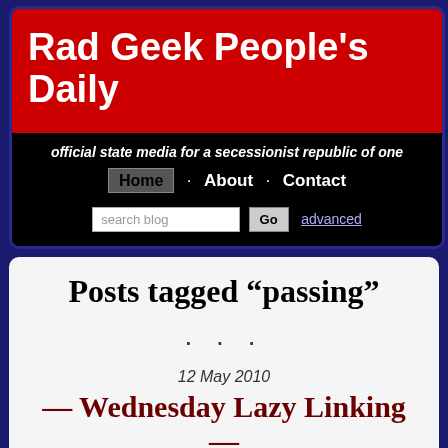Rad Geek People's Daily
official state media for a secessionist republic of one
Home · About · Contact
search blog  Go  advanced
Posts tagged “passing”
. . .
12 May 2010
— Wednesday Lazy Linking —
posted 2pm